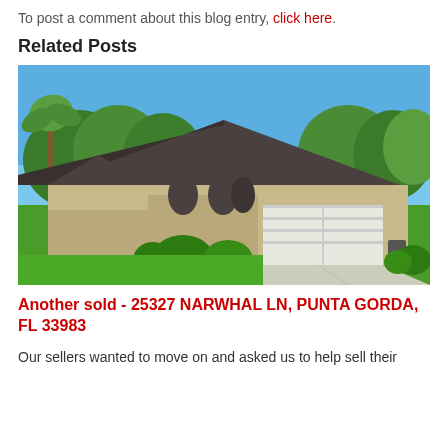To post a comment about this blog entry, click here.
Related Posts
[Figure (photo): Exterior photo of a single-story ranch-style home with beige/tan stucco walls, dark hip roof, two-car garage with white door, concrete driveway, green lawn, trimmed shrubs, and trees in background under a clear blue sky. Located at 25327 Narwhal Ln, Punta Gorda, FL 33983.]
Another sold - 25327 NARWHAL LN, PUNTA GORDA, FL 33983
Our sellers wanted to move on and asked us to help sell their